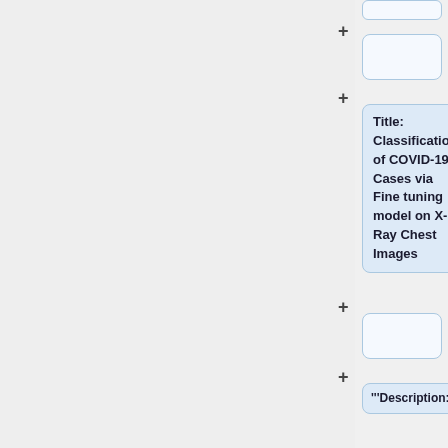[Figure (flowchart): A flowchart/document editor interface showing collapsed and expanded nodes. The right column shows card nodes connected by plus (+) expand buttons. Cards include a title card 'Title: Classification of COVID-19 Cases via Fine tuning model on X-Ray Chest Images', a description label card with text '"""Description:"""', and a text card beginning 'COVID-19 is a contagious disease that emerged in Wuhan, China in December 2019 and has']
Title: Classification of COVID-19 Cases via Fine tuning model on X-Ray Chest Images
"""Description:"""
COVID-19 is a contagious disease that emerged in Wuhan, China in December 2019 and has